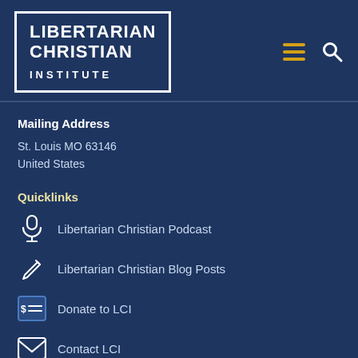[Figure (logo): Libertarian Christian Institute logo — white text on dark blue background with white border box]
Mailing Address
St. Louis MO 63146
United States
Quicklinks
Libertarian Christian Podcast
Libertarian Christian Blog Posts
Donate to LCI
Contact LCI